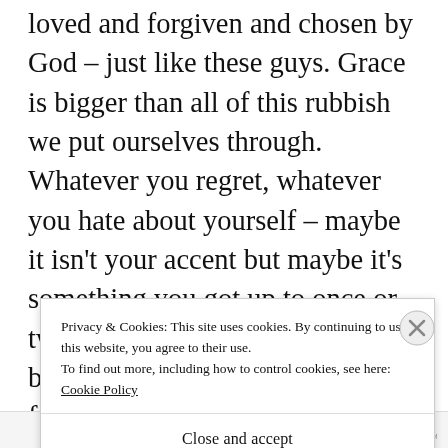loved and forgiven and chosen by God – just like these guys. Grace is bigger than all of this rubbish we put ourselves through. Whatever you regret, whatever you hate about yourself – maybe it isn't your accent but maybe it's something you got up to once or twice with a guy who wasn't your boyfriend then and has made you feel crappy about it ever since – it can all be forgiven
Privacy & Cookies: This site uses cookies. By continuing to use this website, you agree to their use.
To find out more, including how to control cookies, see here:
Cookie Policy
Close and accept